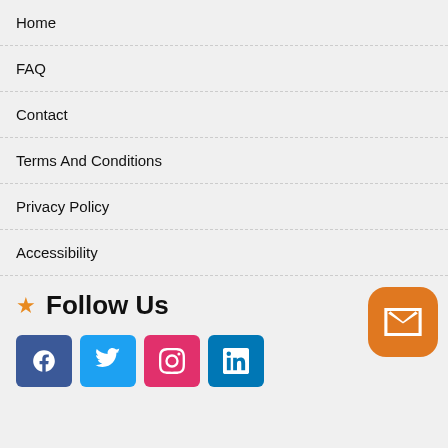Home
FAQ
Contact
Terms And Conditions
Privacy Policy
Accessibility
Follow Us
[Figure (other): Social media icons for Facebook, Twitter, Instagram, LinkedIn and a mail contact button]